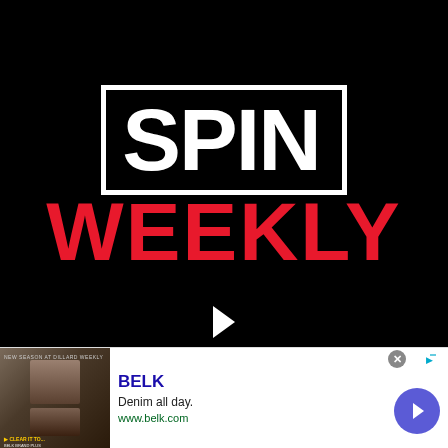[Figure (logo): SPIN Weekly logo on black background with SPIN in white block letters inside a white rectangle border, and WEEKLY in large red bold letters below. White play button triangle at bottom center. Text overlay: 'Cover Story-Site Unit-OFFSET']
Cover Story-Site Unit-OFFSET
[Figure (infographic): Advertisement banner for BELK showing denim clothing image on left, BELK brand name in blue, tagline 'Denim all day.' and URL www.belk.com in green, with a purple circle arrow button on the right. Close X button top right.]
BELK
Denim all day.
www.belk.com